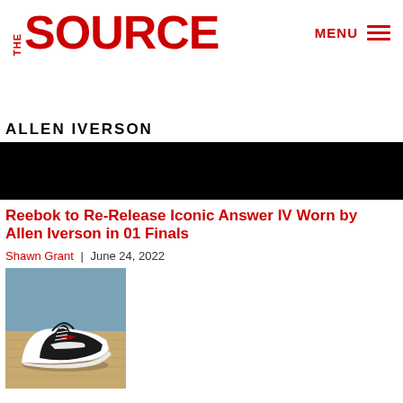THE SOURCE | MENU
ALLEN IVERSON
Reebok to Re-Release Iconic Answer IV Worn by Allen Iverson in 01 Finals
Shawn Grant | June 24, 2022
[Figure (photo): Basketball sneakers (Reebok Answer IV) on a hardwood court floor against a blue background]